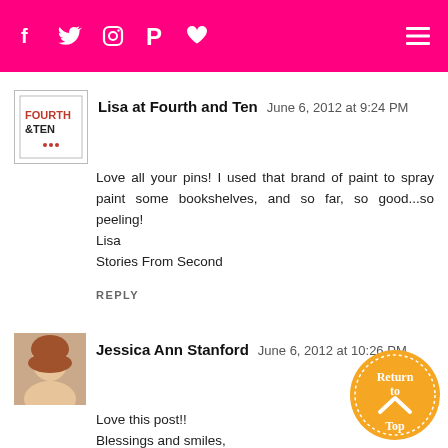Navigation bar with social icons (f, twitter, instagram, pinterest, heart) and hamburger menu on pink background
Lisa at Fourth and Ten  June 6, 2012 at 9:24 PM
Love all your pins! I used that brand of paint to spray paint some bookshelves, and so far, so good...so peeling!
Lisa
Stories From Second
REPLY
Jessica Ann Stanford  June 6, 2012 at 10:26 PM
Love this post!!
Blessings and smiles,

Jessica Stanford
Mrs. Stanford's Class Blog
PS. If you haven't already joined my giveaway I would love to